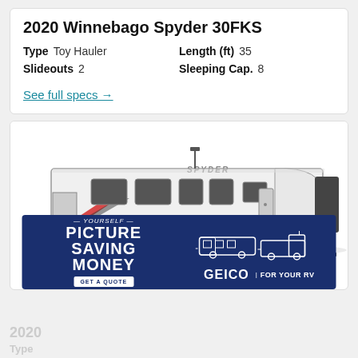2020 Winnebago Spyder 30FKS
Type  Toy Hauler    Length (ft)  35
Slideouts  2    Sleeping Cap.  8
See full specs →
[Figure (photo): 2020 Winnebago Spyder 30FKS toy hauler travel trailer, white with black and red accents, shown from the side with stabilizer jacks deployed]
[Figure (infographic): GEICO RV insurance advertisement banner with dark blue background. Text reads: PICTURE YOURSELF SAVING MONEY with GET A QUOTE button. Right side shows white line illustration of RV trailer and truck with GEICO FOR YOUR RV text.]
2020
Type